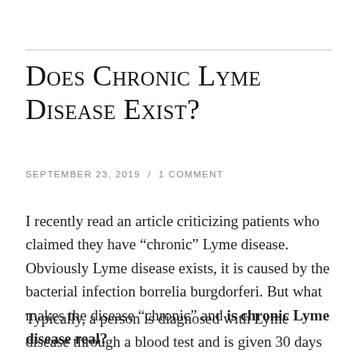Does Chronic Lyme Disease Exist?
SEPTEMBER 23, 2019  /  1 COMMENT
I recently read an article criticizing patients who claimed they have “chronic” Lyme disease. Obviously Lyme disease exists, it is caused by the bacterial infection borrelia burgdorferi. But what makes the disease “chronic” and is chronic Lyme disease real?
Typically, a person is diagnosed with Lyme disease through a blood test and is given 30 days of antibiotics. Then that’s it. No more Lyme disease!… Right? Well, yes…